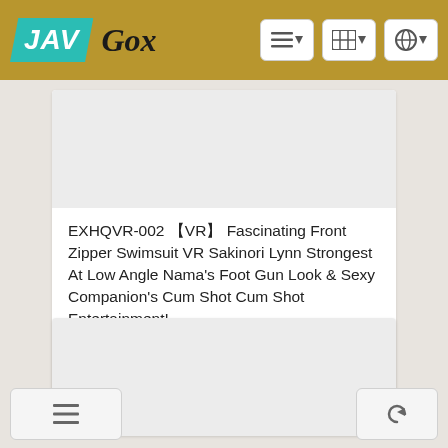JAV Gox
[Figure (screenshot): Blank video thumbnail placeholder, light gray]
EXHQVR-002 【VR】 Fascinating Front Zipper Swimsuit VR Sakinori Lynn Strongest At Low Angle Nama's Foot Gun Look & Sexy Companion's Cum Shot Cum Shot Entertainment!
HD
EXHQVR-002 / 2019-07-02
[Figure (screenshot): Blank video thumbnail placeholder, light gray]